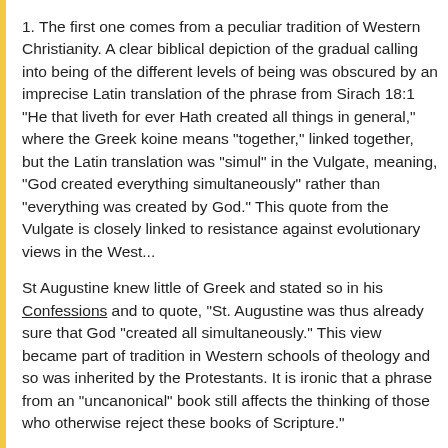1. The first one comes from a peculiar tradition of Western Christianity. A clear biblical depiction of the gradual calling into being of the different levels of being was obscured by an imprecise Latin translation of the phrase from Sirach 18:1 "He that liveth for ever Hath created all things in general," where the Greek koine means "together," linked together, but the Latin translation was "simul" in the Vulgate, meaning, "God created everything simultaneously" rather than "everything was created by God." This quote from the Vulgate is closely linked to resistance against evolutionary views in the West...
St Augustine knew little of Greek and stated so in his Confessions and to quote, "St. Augustine was thus already sure that God "created all simultaneously." This view became part of tradition in Western schools of theology and so was inherited by the Protestants. It is ironic that a phrase from an "uncanonical" book still affects the thinking of those who otherwise reject these books of Scripture."
As he notes, this is related to the Protestant vision of "faith alone." To quote, "This second reason is found in